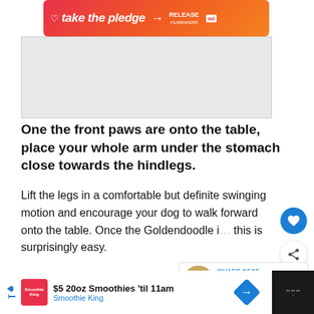[Figure (screenshot): Pink/orange gradient advertisement banner: 'take the pledge' with arrow and 'RELEASE' logo and 'ad' badge]
[Figure (screenshot): Gray placeholder content area with Moat watermark (III) in bottom right]
One the front paws are onto the table, place your whole arm under the stomach close towards the hindlegs.
Lift the legs in a comfortable but definite swinging motion and encourage your dog to walk forward onto the table. Once the Goldendoodle i... this is surprisingly easy.
[Figure (screenshot): What's Next panel with dog thumbnail image and title 'What Size Kennel For A...']
[Figure (screenshot): Bottom advertisement bar: Smoothie King $5 20oz Smoothies 'til 11am with logo and navigation arrow, and dark Moat watermark on right]